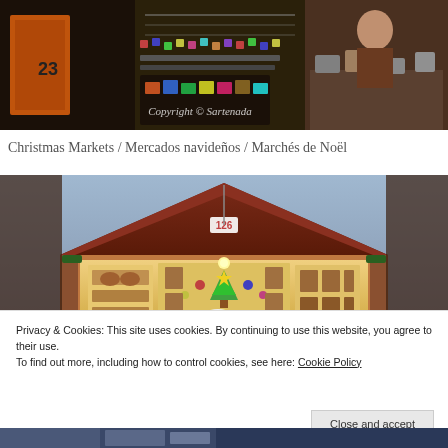[Figure (photo): Christmas market indoor stall with colorful merchandise, accessories, and clothing on display. Copyright © Sartenada watermark visible.]
Christmas Markets / Mercados navideños / Marchés de Noël
[Figure (photo): Christmas market wooden chalet booth numbered 126 with decorative items, icons, and Christmas ornaments displayed inside.]
Privacy & Cookies: This site uses cookies. By continuing to use this website, you agree to their use.
To find out more, including how to control cookies, see here: Cookie Policy
[Figure (photo): Partial view of another market stall at the bottom of the page.]